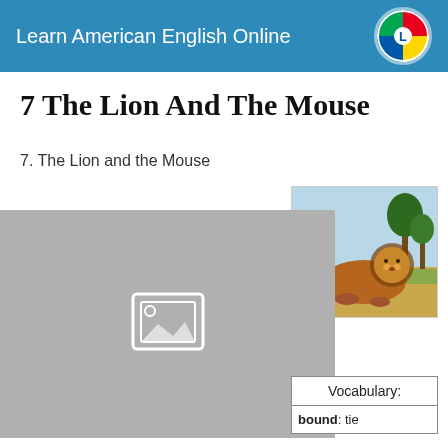Learn American English Online
7 The Lion And The Mouse
7. The Lion and the Mouse
[Figure (photo): Illustration of a lion resting in a savanna landscape with trees in the background]
[Figure (other): Gray placeholder image area with image icon in center]
| Vocabulary: |
| --- |
| bound: tie |